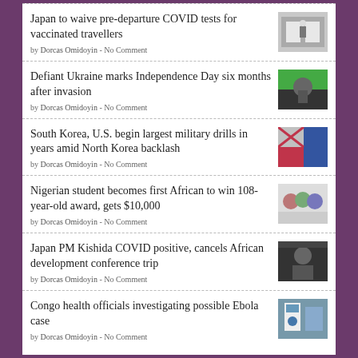Japan to waive pre-departure COVID tests for vaccinated travellers
by Dorcas Omidoyin - No Comment
Defiant Ukraine marks Independence Day six months after invasion
by Dorcas Omidoyin - No Comment
South Korea, U.S. begin largest military drills in years amid North Korea backlash
by Dorcas Omidoyin - No Comment
Nigerian student becomes first African to win 108-year-old award, gets $10,000
by Dorcas Omidoyin - No Comment
Japan PM Kishida COVID positive, cancels African development conference trip
by Dorcas Omidoyin - No Comment
Congo health officials investigating possible Ebola case
by Dorcas Omidoyin - No Comment